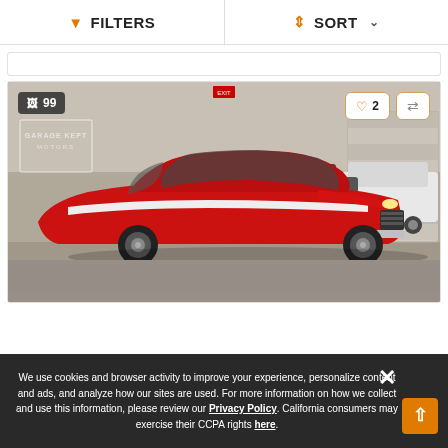FILTERS   SORT
[Figure (photo): Red classic muscle car (Oldsmobile Cutlass) in a dealership garage with other vehicles in background. Garage Kept Motors watermark visible. Photo count badge showing 99. Heart (2 saves) and compare buttons in top right corner.]
We use cookies and browser activity to improve your experience, personalize content and ads, and analyze how our sites are used. For more information on how we collect and use this information, please review our Privacy Policy. California consumers may exercise their CCPA rights here.